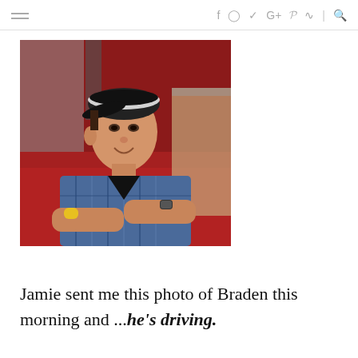≡  f  ⓘ  𝕐  G+  𝒫  ⌁  |  🔍
[Figure (photo): Young man wearing a black and white cap and a blue plaid shirt, leaning on a red vehicle (classic truck), with a yellow wristband and a watch, smiling at the camera.]
Jamie sent me this photo of Braden this morning and ...he's driving.